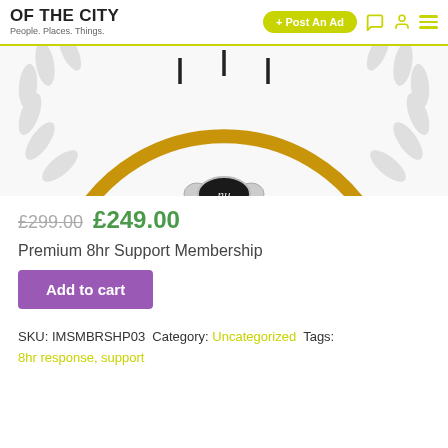OF THE CITY — People. Places. Things. | + Post An Ad
[Figure (illustration): Partial product image showing a gold-colored circular necklace/bracelet with decorative leaf elements and a central oval black clasp with 'nu' logo, on white background]
£299.00 £249.00
Premium 8hr Support Membership
Add to cart
SKU: IMSMBRSHP03 Category: Uncategorized Tags:
8hr response, support